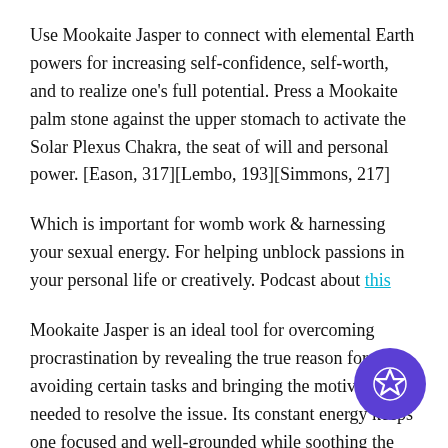Use Mookaite Jasper to connect with elemental Earth powers for increasing self-confidence, self-worth, and to realize one's full potential. Press a Mookaite palm stone against the upper stomach to activate the Solar Plexus Chakra, the seat of will and personal power. [Eason, 317][Lembo, 193][Simmons, 217]
Which is important for womb work & harnessing your sexual energy. For helping unblock passions in your personal life or creatively. Podcast about this
Mookaite Jasper is an ideal tool for overcoming procrastination by revealing the true reason for avoiding certain tasks and bringing the motivation needed to resolve the issue. Its constant energy keeps one focused and well-grounded while soothing the mind and distracting thoughts. It is great for focusing on a specific goal or for a motivational boost in the workplace.[Lembo,